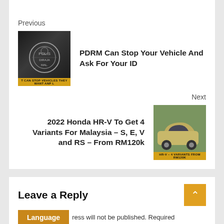Previous
[Figure (photo): Thumbnail image of PDRM badge/emblem in dark/black background with yellow text banner at bottom]
PDRM Can Stop Your Vehicle And Ask For Your ID
Next
2022 Honda HR-V To Get 4 Variants For Malaysia – S, E, V and RS – From RM120k
[Figure (photo): Thumbnail image of a gold/beige Honda HR-V SUV side view outdoors with yellow text banner at bottom]
Leave a Reply
Language
ress will not be published. Required
ed *